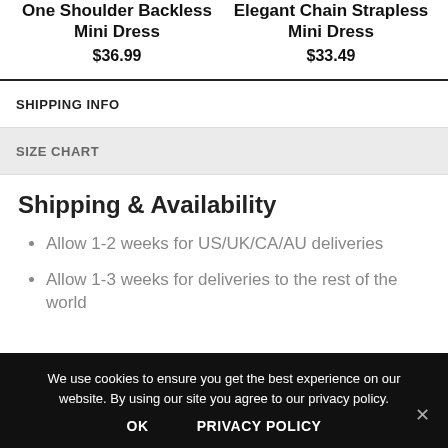One Shoulder Backless Mini Dress
$36.99
Elegant Chain Strapless Mini Dress
$33.49
SHIPPING INFO
SIZE CHART
Shipping & Availability
Allow 1-2 weeks for US/UK/CA/AU deliveries
Allow 1-3 weeks for deliveries to the rest of the world
We use cookies to ensure you get the best experience on our website. By using our site you agree to our privacy policy.
OK
PRIVACY POLICY